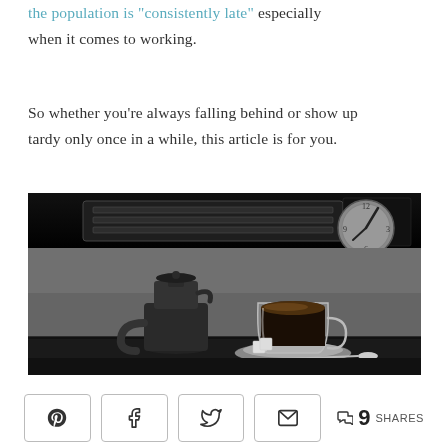the population is 'consistently late' especially when it comes to working.
So whether you're always falling behind or show up tardy only once in a while, this article is for you.
[Figure (photo): Black and white kitchen scene showing a stovetop espresso maker and a glass coffee cup with saucer on a dark countertop, with a clock on the wall in the background and an overhead range hood at the top.]
9 SHARES (social share buttons: Pinterest, Facebook, Twitter, Email)